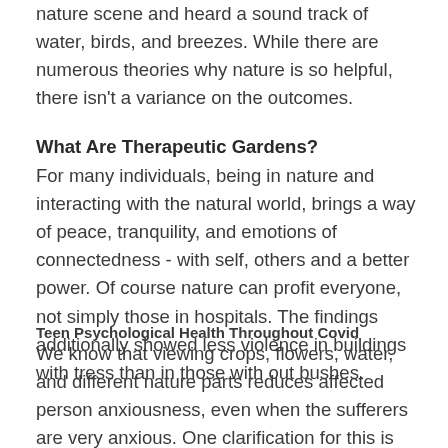nature scene and heard a sound track of water, birds, and breezes. While there are numerous theories why nature is so helpful, there isn't a variance on the outcomes.
What Are Therapeutic Gardens?
For many individuals, being in nature and interacting with the natural world, brings a way of peace, tranquility, and emotions of connectedness - with self, others and a better power. Of course nature can profit everyone, not simply those in hospitals. The findings additionally showed less violence in buildings with tress than in those with out bushes.
Teen Psychological Health Throughout Covid
We know that viewing crops, flowers, water, and different nature parts reduces affected person anxiousness, even when the sufferers are very anxious. One clarification for this is that nature offers a respite from the constant effort to display screen out competing stimuli in our busy lives. Because